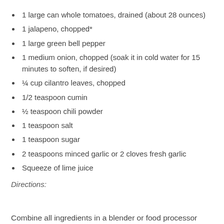1 large can whole tomatoes, drained (about 28 ounces)
1 jalapeno, chopped*
1 large green bell pepper
1 medium onion, chopped (soak it in cold water for 15 minutes to soften, if desired)
¼ cup cilantro leaves, chopped
1/2 teaspoon cumin
½ teaspoon chili powder
1 teaspoon salt
1 teaspoon sugar
2 teaspoons minced garlic or 2 cloves fresh garlic
Squeeze of lime juice
Directions:
Combine all ingredients in a blender or food processor and puree until desired consistency is reached, blending a short